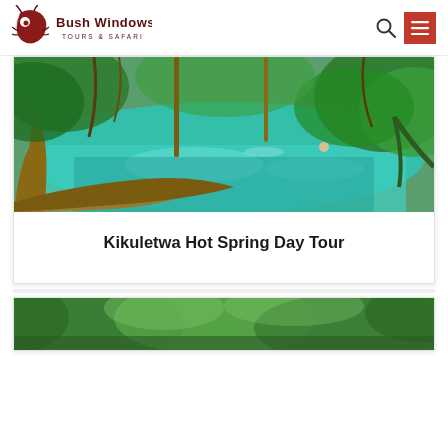Bush Windows Tours & Safari — navigation header
[Figure (photo): Turquoise natural hot spring pool with tree trunks and tropical jungle foliage; a swimmer visible in the background]
Kikuletwa Hot Spring Day Tour
[Figure (photo): Partial view of a second tour card image showing green tropical foliage]